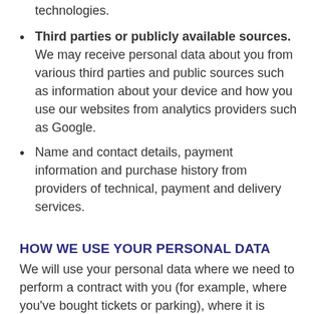technologies.
Third parties or publicly available sources. We may receive personal data about you from various third parties and public sources such as information about your device and how you use our websites from analytics providers such as Google.
Name and contact details, payment information and purchase history from providers of technical, payment and delivery services.
HOW WE USE YOUR PERSONAL DATA
We will use your personal data where we need to perform a contract with you (for example, where you've bought tickets or parking), where it is necessary for our legitimate interests, where you have asked us to or where we need to comply with a legal obligation. We have described what we do with your personal data and why we do it in the table in the expanded part of this